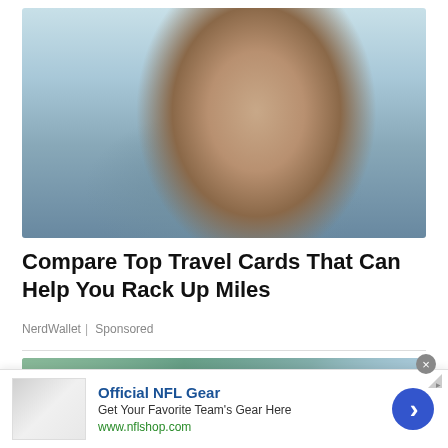[Figure (photo): Woman wearing a hat and off-shoulder striped top, smiling and holding a credit card outdoors]
Compare Top Travel Cards That Can Help You Rack Up Miles
NerdWallet | Sponsored
[Figure (photo): Partial view of a second article photo with outdoor background]
[Figure (infographic): Advertisement banner: Official NFL Gear — Get Your Favorite Team's Gear Here — www.nflshop.com]